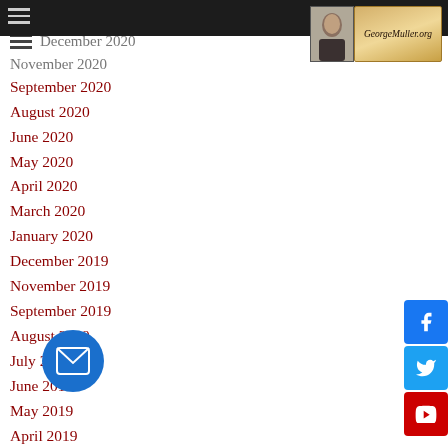GeorgeMuller.org
January 2021
December 2020
November 2020
September 2020
August 2020
June 2020
May 2020
April 2020
March 2020
January 2020
December 2019
November 2019
September 2019
August 2019
July 2019
June 2019
May 2019
April 2019
January 2019